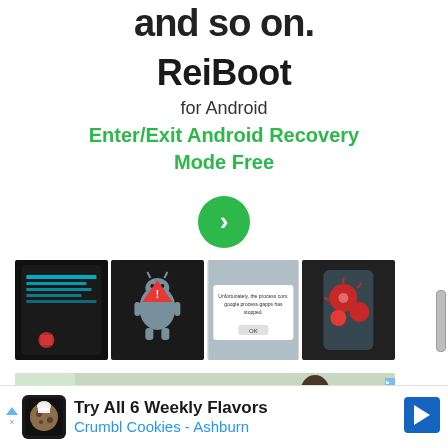and so on.
ReiBoot
for Android
Enter/Exit Android Recovery Mode Free
[Figure (other): Green circular button with right-pointing chevron/arrow]
[Figure (photo): Four smartphone screenshots showing Android recovery mode and error screens, including an Android robot with red triangle warning, a process stopped error dialog, and a phone held with virus/bacteria illustration]
[Figure (photo): Advertisement banner showing a person working at dual monitors with a plant in the background. Has ad indicator icons.]
[Figure (screenshot): Bottom advertisement: Try All 6 Weekly Flavors - Crumbl Cookies - Ashburn, with cookie logo and navigation arrow icon]